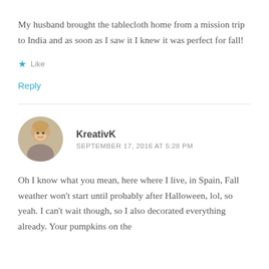My husband brought the tablecloth home from a mission trip to India and as soon as I saw it I knew it was perfect for fall!
★ Like
Reply
KreativK
SEPTEMBER 17, 2016 AT 5:28 PM
Oh I know what you mean, here where I live, in Spain, Fall weather won't start until probably after Halloween, lol, so yeah. I can't wait though, so I also decorated everything already. Your pumpkins on the